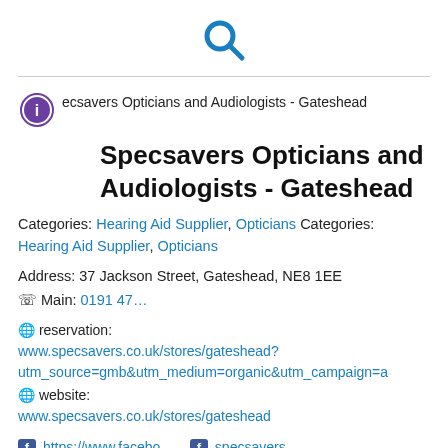[Figure (logo): Search magnifying glass icon in blue]
[Figure (logo): Purple circle info icon with letter i]
ecsavers Opticians and Audiologists - Gateshead
Specsavers Opticians and Audiologists - Gateshead
Categories: Hearing Aid Supplier, Opticians Categories: Hearing Aid Supplier, Opticians
Address: 37 Jackson Street, Gateshead, NE8 1EE
Main: 0191 47…
reservation: www.specsavers.co.uk/stores/gateshead?utm_source=gmb&utm_medium=organic&utm_campaign=a
website: www.specsavers.co.uk/stores/gateshead
https://www.facebo…  specsavers